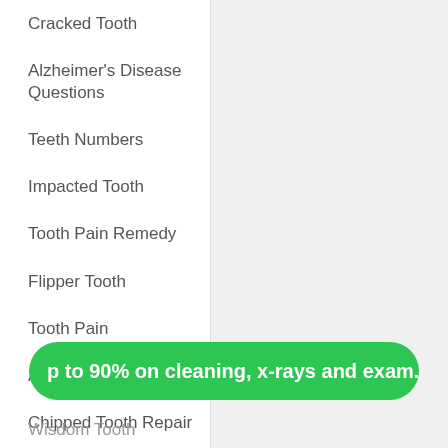Cracked Tooth
Alzheimer's Disease Questions
Teeth Numbers
Impacted Tooth
Tooth Pain Remedy
Flipper Tooth
Tooth Pain
All-on-4 Implants
Chipped Tooth Repair
p to 90% on cleaning, x-rays and exam.
Wisdom Tooth